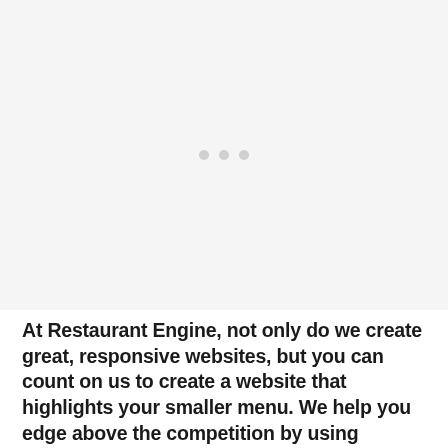[Figure (other): Large light gray placeholder image area with three small gray dots centered, indicating a loading or carousel image placeholder.]
At Restaurant Engine, not only do we create great, responsive websites, but you can count on us to create a website that highlights your smaller menu. We help you edge above the competition by using mobile-friendly design with